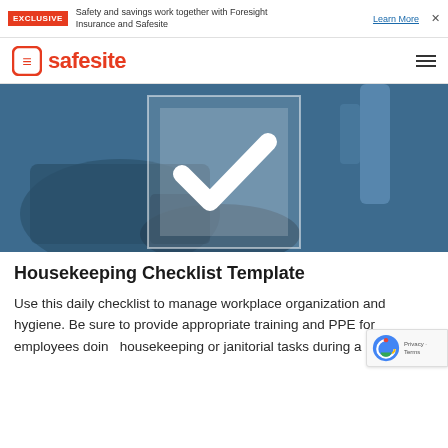EXCLUSIVE — Safety and savings work together with Foresight Insurance and Safesite — Learn More
[Figure (logo): Safesite logo with orange icon and text]
[Figure (photo): Hero image showing a housekeeping/cleaning scene with a large white checkmark overlay on a dark blue-tinted background]
Housekeeping Checklist Template
Use this daily checklist to manage workplace organization and hygiene. Be sure to provide appropriate training and PPE for employees doing housekeeping or janitorial tasks during a pandemic